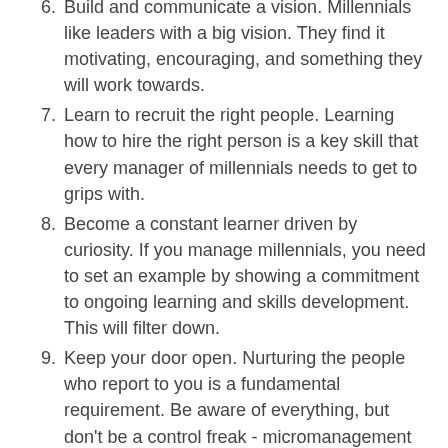Build and communicate a vision. Millennials like leaders with a big vision. They find it motivating, encouraging, and something they will work towards.
Learn to recruit the right people. Learning how to hire the right person is a key skill that every manager of millennials needs to get to grips with.
Become a constant learner driven by curiosity. If you manage millennials, you need to set an example by showing a commitment to ongoing learning and skills development. This will filter down.
Keep your door open. Nurturing the people who report to you is a fundamental requirement. Be aware of everything, but don't be a control freak - micromanagement undermines loyalty and works against you in